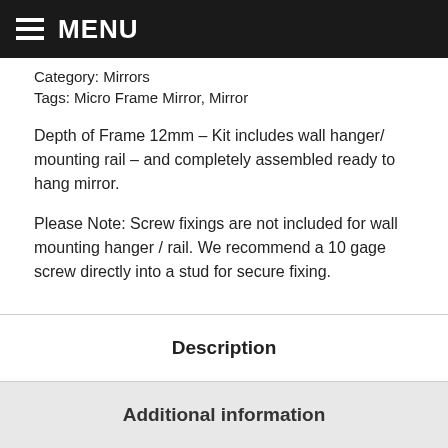MENU
Category: Mirrors
Tags: Micro Frame Mirror, Mirror
Depth of Frame 12mm – Kit includes wall hanger/ mounting rail – and completely assembled ready to hang mirror.
Please Note: Screw fixings are not included for wall mounting hanger / rail. We recommend a 10 gage screw directly into a stud for secure fixing.
Description
Additional information